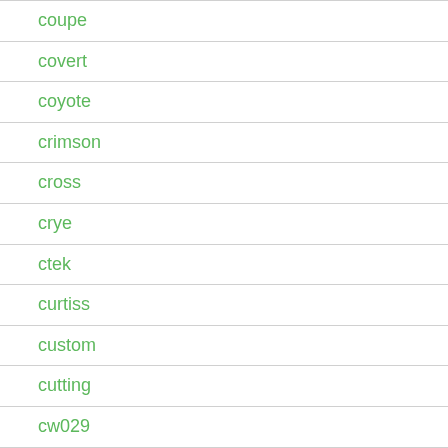coupe
covert
coyote
crimson
cross
crye
ctek
curtiss
custom
cutting
cw029
d400
damast